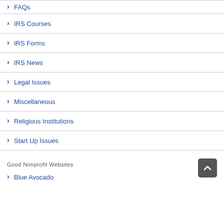FAQs
IRS Courses
IRS Forms
IRS News
Legal Issues
Miscellaneous
Religious Institutions
Start Up Issues
Good Nonprofit Websites
Blue Avocado